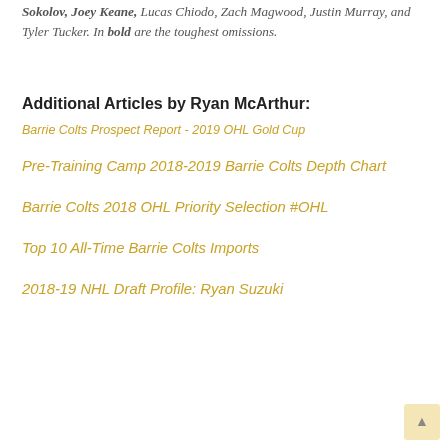Sokolov, Joey Keane, Lucas Chiodo, Zach Magwood, Justin Murray, and Tyler Tucker. In bold are the toughest omissions.
Additional Articles by Ryan McArthur:
Barrie Colts Prospect Report - 2019 OHL Gold Cup
Pre-Training Camp 2018-2019 Barrie Colts Depth Chart
Barrie Colts 2018 OHL Priority Selection #OHL
Top 10 All-Time Barrie Colts Imports
2018-19 NHL Draft Profile: Ryan Suzuki